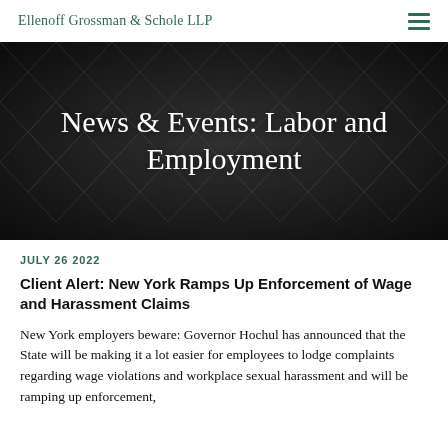Ellenoff Grossman & Schole LLP
[Figure (photo): Dark textured abstract background with swirling pattern, used as hero banner behind the title 'News & Events: Labor and Employment']
News & Events: Labor and Employment
JULY 26 2022
Client Alert: New York Ramps Up Enforcement of Wage and Harassment Claims
New York employers beware: Governor Hochul has announced that the State will be making it a lot easier for employees to lodge complaints regarding wage violations and workplace sexual harassment and will be ramping up enforcement,